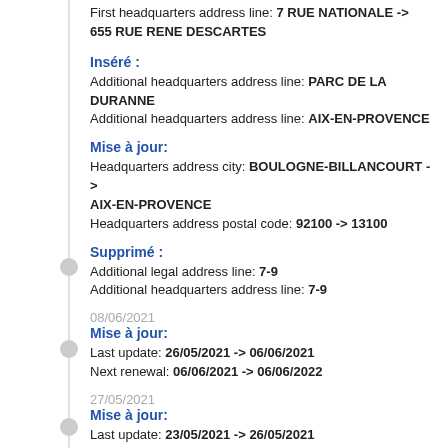First headquarters address line: 7 RUE NATIONALE -> 655 RUE RENE DESCARTES
Inséré :
Additional headquarters address line: PARC DE LA DURANNE
Additional headquarters address line: AIX-EN-PROVENCE
Mise à jour:
Headquarters address city: BOULOGNE-BILLANCOURT -> AIX-EN-PROVENCE
Headquarters address postal code: 92100 -> 13100
Supprimé :
Additional legal address line: 7-9
Additional headquarters address line: 7-9
08/06/2021
Mise à jour:
Last update: 26/05/2021 -> 06/06/2021
Next renewal: 06/06/2021 -> 06/06/2022
27/05/2021
Mise à jour:
Last update: 23/05/2021 -> 26/05/2021
24/05/2021